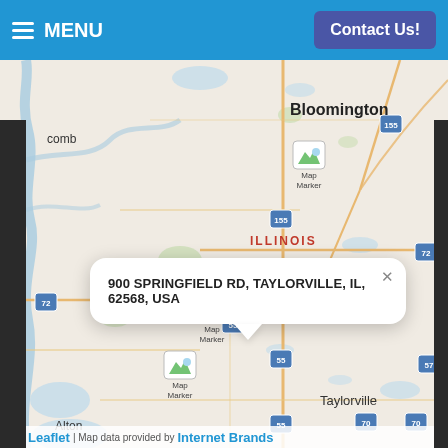MENU | Contact Us!
[Figure (map): Interactive Leaflet map centered on central Illinois showing Taylorville, Jacksonville, Bloomington areas with multiple map markers and a popup callout reading '900 SPRINGFIELD RD, TAYLORVILLE, IL, 62568, USA'. Map attribution: Leaflet | Map data provided by Internet Brands.]